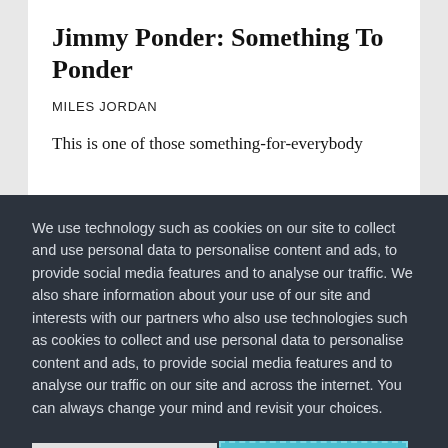Jimmy Ponder: Something To Ponder
MILES JORDAN
This is one of those something-for-everybody
We use technology such as cookies on our site to collect and use personal data to personalise content and ads, to provide social media features and to analyse our traffic. We also share information about your use of our site and interests with our partners who also use technologies such as cookies to collect and use personal data to personalise content and ads, to provide social media features and to analyse our traffic on our site and across the internet. You can always change your mind and revisit your choices.
Manage Options
I Accept